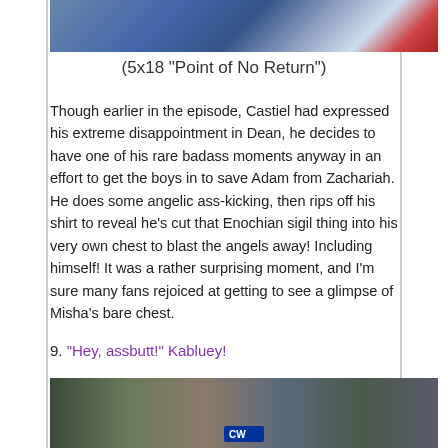[Figure (photo): Top portion of a TV show screenshot showing characters from Supernatural]
(5x18 "Point of No Return")
Though earlier in the episode, Castiel had expressed his extreme disappointment in Dean, he decides to have one of his rare badass moments anyway in an effort to get the boys in to save Adam from Zachariah. He does some angelic ass-kicking, then rips off his shirt to reveal he's cut that Enochian sigil thing into his very own chest to blast the angels away! Including himself! It was a rather surprising moment, and I'm sure many fans rejoiced at getting to see a glimpse of Misha's bare chest.
9. "Hey, assbutt!" Kabluey!
[Figure (photo): Screenshot from Supernatural showing Castiel (Misha Collins) in his trenchcoat with other characters outdoors, with a CW network logo watermark]